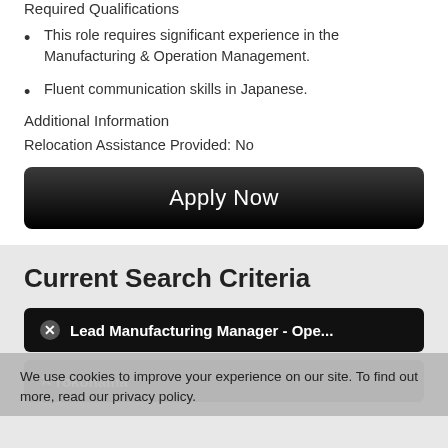Required Qualifications
This role requires significant experience in the Manufacturing & Operation Management.
Fluent communication skills in Japanese.
Additional Information
Relocation Assistance Provided: No
[Figure (other): Apply Now button - black rounded rectangle button with white text]
Current Search Criteria
Lead Manufacturing Manager - Ope...
We use cookies to improve your experience on our site. To find out more, read our privacy policy.
Clear All
Accept